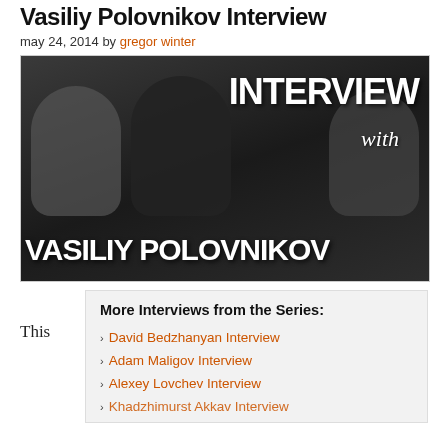Vasiliy Polovnikov Interview
may 24, 2014 by gregor winter
[Figure (photo): Photo of Vasiliy Polovnikov in a gym setting with text overlay reading 'INTERVIEW with VASILIY POLOVNIKOV']
This
More Interviews from the Series:
David Bedzhanyan Interview
Adam Maligov Interview
Alexey Lovchev Interview
Khadzhimurst Akkav Interview